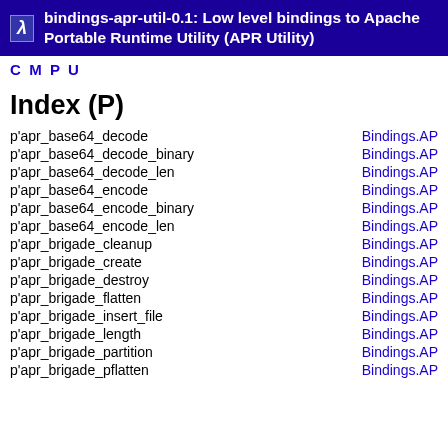bindings-apr-util-0.1: Low level bindings to Apache Portable Runtime Utility (APR Utility)
C M P U
Index (P)
p'apr_base64_decode — Bindings.AP
p'apr_base64_decode_binary — Bindings.AP
p'apr_base64_decode_len — Bindings.AP
p'apr_base64_encode — Bindings.AP
p'apr_base64_encode_binary — Bindings.AP
p'apr_base64_encode_len — Bindings.AP
p'apr_brigade_cleanup — Bindings.AP
p'apr_brigade_create — Bindings.AP
p'apr_brigade_destroy — Bindings.AP
p'apr_brigade_flatten — Bindings.AP
p'apr_brigade_insert_file — Bindings.AP
p'apr_brigade_length — Bindings.AP
p'apr_brigade_partition — Bindings.AP
p'apr_brigade_pflatten — Bindings.AP